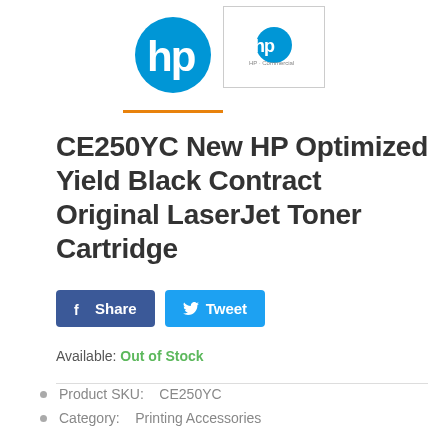[Figure (logo): HP logo (large blue) with orange underline border, and HP Commercial logo (smaller) in a bordered box]
CE250YC New HP Optimized Yield Black Contract Original LaserJet Toner Cartridge
[Figure (infographic): Facebook Share button (dark blue) and Twitter Tweet button (light blue) with social icons]
Available: Out of Stock
Product SKU:   CE250YC
Category:   Printing Accessories
$357.00